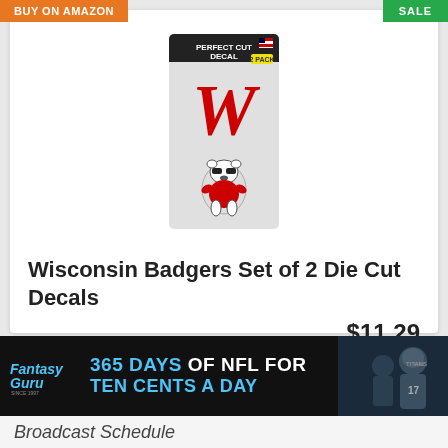BUY ON AMAZON
SALE
[Figure (photo): Wisconsin Badgers Perfect Cut Decal 2-pack product image showing the W logo decal and Bucky Badger mascot decal on a card package]
Wisconsin Badgers Set of 2 Die Cut Decals
$11.29
Buy on Amazon
[Figure (infographic): Fantasy Guru advertisement banner: 365 DAYS OF NFL FOR TEN CENTS A DAY with football player images]
Broadcast Schedule